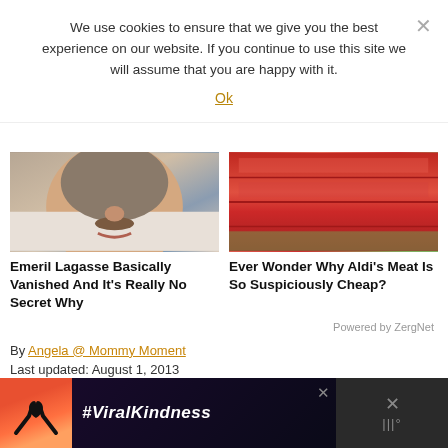We use cookies to ensure that we give you the best experience on our website. If you continue to use this site we will assume that you are happy with it.
Ok
[Figure (photo): Close-up photo of Emeril Lagasse's face]
Emeril Lagasse Basically Vanished And It's Really No Secret Why
[Figure (photo): Close-up photo of stacked raw red meat slices]
Ever Wonder Why Aldi's Meat Is So Suspiciously Cheap?
Powered by ZergNet
By Angela @ Mommy Moment
Last updated: August 1, 2013
Giveaways, Reviews
[Figure (photo): Advertisement banner with heart hands silhouette and #ViralKindness text]